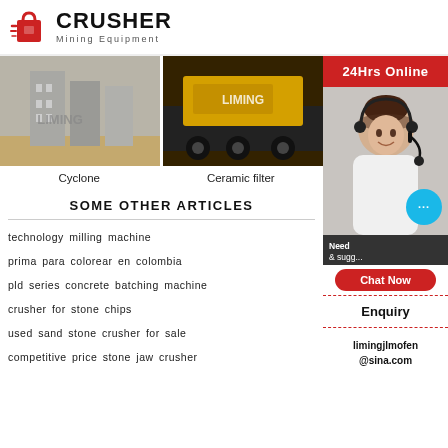[Figure (logo): Crusher Mining Equipment logo with red shopping bag icon and bold CRUSHER text]
[Figure (photo): Large grey industrial buildings/silos with LIMING branding on them]
[Figure (photo): Yellow heavy mining equipment on a truck with LIMING branding]
Cyclone
Ceramic filter
SOME OTHER ARTICLES
technology milling machine
prima para colorear en colombia
pld series concrete batching machine
crusher for stone chips
used sand stone crusher for sale
competitive price stone jaw crusher
[Figure (infographic): 24Hrs Online sidebar with customer service representative photo, chat bubble, Need & suggestions text, Chat Now button, Enquiry section, and limingjlmofen@sina.com email]